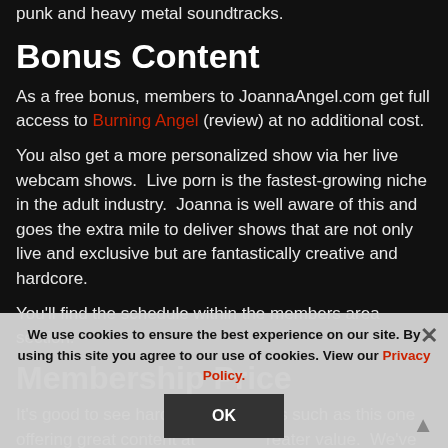with scathing pressure emphasized further by the unique punk and heavy metal soundtracks.
Bonus Content
As a free bonus, members to JoannaAngel.com get full access to Burning Angel (review) at no additional cost.
You also get a more personalized show via her live webcam shows.  Live porn is the fastest-growing niche in the adult industry.  Joanna is well aware of this and goes the extra mile to deliver shows that are not only live and exclusive but are fantastically creative and hardcore.
You'll find the schedule within the members area section.
Membership Price
It's good to see hardcore niche sites such as this one offering great content at greater value.  We've even negotiated a 50% discount for the first month if
We use cookies to ensure the best experience on our site. By using this site you agree to our use of cookies. View our Privacy Policy.